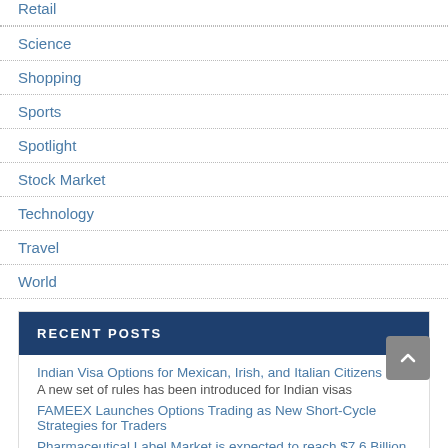Retail
Science
Shopping
Sports
Spotlight
Stock Market
Technology
Travel
World
RECENT POSTS
Indian Visa Options for Mexican, Irish, and Italian Citizens
A new set of rules has been introduced for Indian visas
FAMEEX Launches Options Trading as New Short-Cycle Strategies for Traders
Pharmaceutical Label Market is expected to reach $7.6 Billion by 2027 – An exclusive market research report by Lucintel